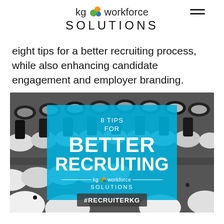[Figure (logo): KG Workforce Solutions logo with circular multi-color icon, hamburger menu icon top right]
eight tips for a better recruiting process, while also enhancing candidate engagement and employer branding.
[Figure (photo): Black and white photo of rows of chairs with a cyan overlay box showing '8 TIPS FOR BETTER RECRUITING' with KG Workforce Solutions logo and #RECRUITERKG hashtag banner]